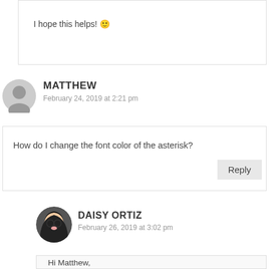I hope this helps! 🙂
MATTHEW
February 24, 2019 at 2:21 pm
How do I change the font color of the asterisk?
DAISY ORTIZ
February 26, 2019 at 3:02 pm
Hi Matthew,

You can change the color of the asterisk by using the following CSS snippet: